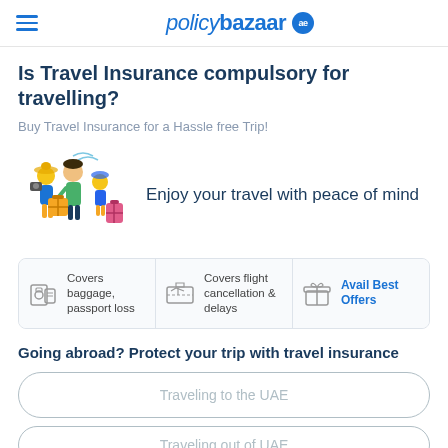policybazaar ae
Is Travel Insurance compulsory for travelling?
Buy Travel Insurance for a Hassle free Trip!
[Figure (illustration): Illustration of travelers with luggage and a text: Enjoy your travel with peace of mind]
Enjoy your travel with peace of mind
[Figure (infographic): Three feature cells: Covers baggage, passport loss | Covers flight cancellation & delays | Avail Best Offers]
Going abroad? Protect your trip with travel insurance
Traveling to the UAE
Traveling out of UAE